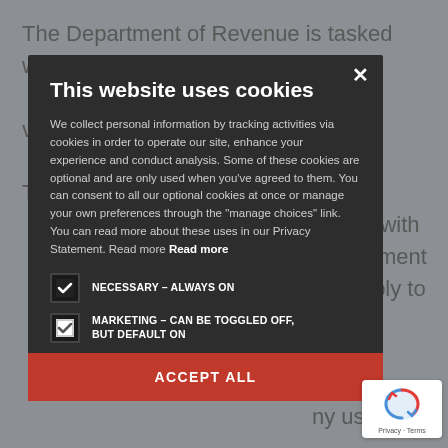The Department of Revenue is tasked with auditing ot voluntarily he tax. These rtment with Department will apply to ax sinesses. ny use tax
This website uses cookies
We collect personal information by tracking activities via cookies in order to operate our site, enhance your experience and conduct analysis. Some of these cookies are optional and are only used when you’ve agreed to them. You can consent to all our optional cookies at once or manage your own preferences through the “manage choices” link. You can read more about these uses in our Privacy Statement. Read more Read more
NECESSARY – ALWAYS ON
MARKETING – CAN BE TOGGLED OFF, BUT DEFAULT ON
ACCEPT ALL
and Loc
Tax group for assistance with filing or to address